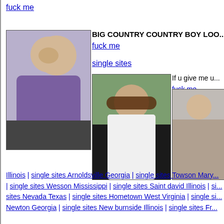fuck me
[Figure (photo): Woman with blonde hair wearing purple top, standing outside near a car]
BIG COUNTRY COUNTRY BOY LOO...
fuck me
single sites
[Figure (photo): Woman with dark hair and sunglasses wearing white top, sitting outdoors]
If u give me u...
fuck me
[Figure (photo): Partial view of a person near a car interior]
Illinois | single sites Arnoldsville Georgia | single sites Towson Mary... | single sites Wesson Mississippi | single sites Saint david Illinois | si... sites Nevada Texas | single sites Hometown West Virginia | single si... Newton Georgia | single sites New burnside Illinois | single sites Fr...